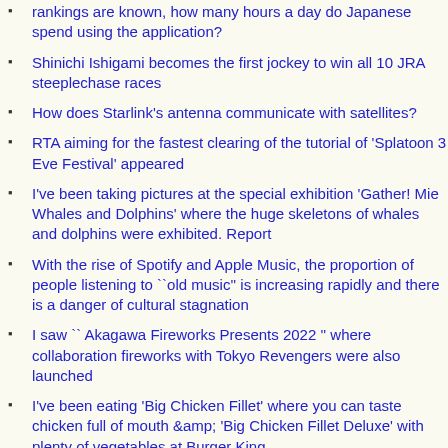rankings are known, how many hours a day do Japanese spend using the application?
Shinichi Ishigami becomes the first jockey to win all 10 JRA steeplechase races
How does Starlink's antenna communicate with satellites?
RTA aiming for the fastest clearing of the tutorial of 'Splatoon 3 Eve Festival' appeared
I've been taking pictures at the special exhibition 'Gather! Mie Whales and Dolphins' where the huge skeletons of whales and dolphins were exhibited. Report
With the rise of Spotify and Apple Music, the proportion of people listening to ``old music'' is increasing rapidly and there is a danger of cultural stagnation
I saw `` Akagawa Fireworks Presents 2022 '' where collaboration fireworks with Tokyo Revengers were also launched
I've been eating 'Big Chicken Fillet' where you can taste chicken full of mouth &amp; 'Big Chicken Fillet Deluxe' with plenty of vegetables at Burger King
Finally a synthetic embryo with a ``brain'' and a ``beating heart'' is produced
After 18 years, finally Meta will establish a customer service department to support users whose Facebook accounts have